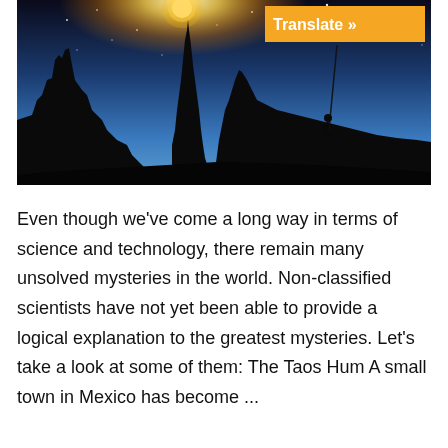[Figure (photo): Dramatic silhouette photo of large rock formations (buttes) against a twilight sky with stars. A rock climber is visible rappelling down a rope on the right side. An orange 'Translate »' button overlays the top-right corner of the image.]
Even though we've come a long way in terms of science and technology, there remain many unsolved mysteries in the world. Non-classified scientists have not yet been able to provide a logical explanation to the greatest mysteries. Let's take a look at some of them: The Taos Hum A small town in Mexico has become ...